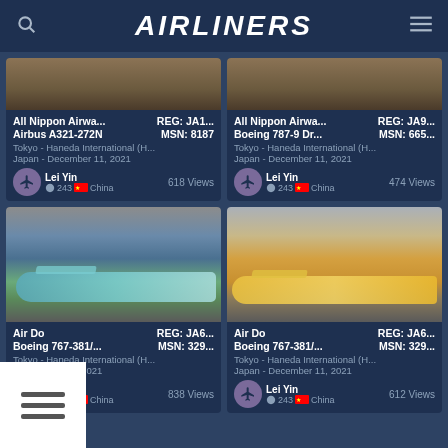AIRLINERS
[Figure (photo): All Nippon Airways Airbus A321-272N at Tokyo Haneda, partial top visible]
All Nippon Airwa... REG: JA1...
Airbus A321-272N MSN: 8187
Tokyo - Haneda International (H...
Japan - December 11, 2021
Lei Yin 243 China 618 Views
[Figure (photo): All Nippon Airways Boeing 787-9 Dreamliner at Tokyo Haneda, partial top visible]
All Nippon Airwa... REG: JA9...
Boeing 787-9 Dr... MSN: 665...
Tokyo - Haneda International (H...
Japan - December 11, 2021
Lei Yin 243 China 474 Views
[Figure (photo): Air Do Boeing 767-381 with livery at Tokyo Haneda International airport, December 11 2021]
Air Do REG: JA6...
Boeing 767-381/... MSN: 329...
Tokyo - Haneda International (H...
- December 11, 2021
Lei Yin 243 China 838 Views
[Figure (photo): Air Do Boeing 767-381 with yellow/orange anime livery at Tokyo Haneda International airport, December 11 2021]
Air Do REG: JA6...
Boeing 767-381/... MSN: 329...
Tokyo - Haneda International (H...
Japan - December 11, 2021
Lei Yin 243 China 612 Views